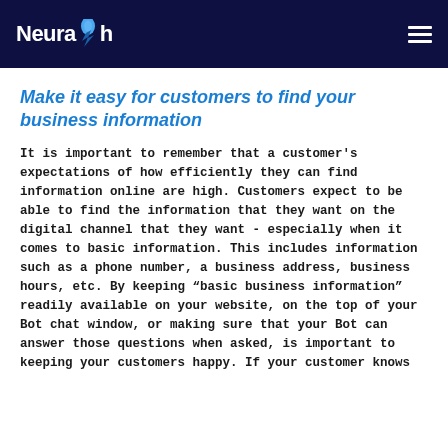NeuraFlash
Make it easy for customers to find your business information
It is important to remember that a customer's expectations of how efficiently they can find information online are high. Customers expect to be able to find the information that they want on the digital channel that they want - especially when it comes to basic information. This includes information such as a phone number, a business address, business hours, etc. By keeping "basic business information" readily available on your website, on the top of your Bot chat window, or making sure that your Bot can answer those questions when asked, is important to keeping your customers happy. If your customer knows